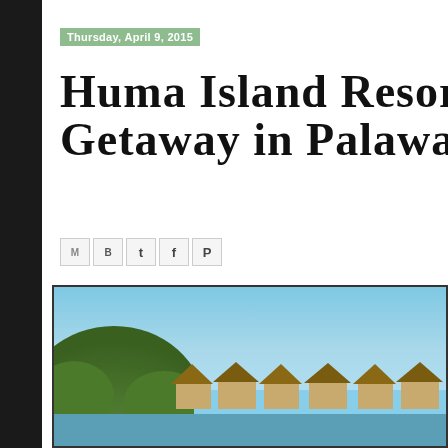Thursday, April 9, 2015
Huma Island Resort and Spa Getaway in Palawan
[Figure (other): Social sharing buttons: email, Blogger, Twitter, Facebook, Pinterest]
[Figure (photo): Outdoor photo of Huma Island Resort and Spa showing blue sky, a green tree-covered hill on the left, and resort bungalows with thatched roofs visible along the waterline on the right.]